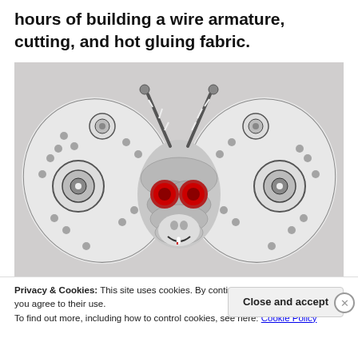hours of building a wire armature, cutting, and hot gluing fabric.
[Figure (photo): A handmade fabric moth/insect sculpture with large patterned wings, red circular eyes, a skull-like face, and striped antennae. Made from felt and fabric with dark grey and white pattern.]
Privacy & Cookies: This site uses cookies. By continuing to use this website, you agree to their use.
To find out more, including how to control cookies, see here: Cookie Policy
Close and accept